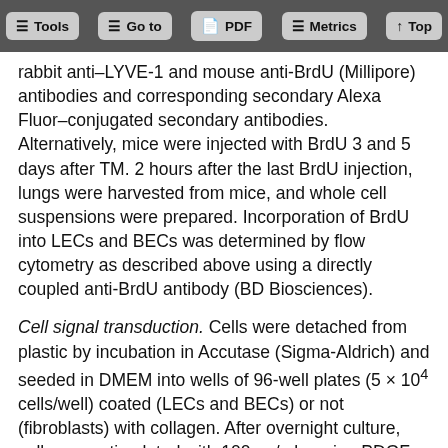Tools | Go to | PDF | Metrics | Top
rabbit anti–LYVE-1 and mouse anti-BrdU (Millipore) antibodies and corresponding secondary Alexa Fluor–conjugated secondary antibodies. Alternatively, mice were injected with BrdU 3 and 5 days after TM. 2 hours after the last BrdU injection, lungs were harvested from mice, and whole cell suspensions were prepared. Incorporation of BrdU into LECs and BECs was determined by flow cytometry as described above using a directly coupled anti-BrdU antibody (BD Biosciences).
Cell signal transduction. Cells were detached from plastic by incubation in Accutase (Sigma-Aldrich) and seeded in DMEM into wells of 96-well plates (5 × 10⁴ cells/well) coated (LECs and BECs) or not (fibroblasts) with collagen. After overnight culture, cells were stimulated with 100 ng/ml murine PDGF